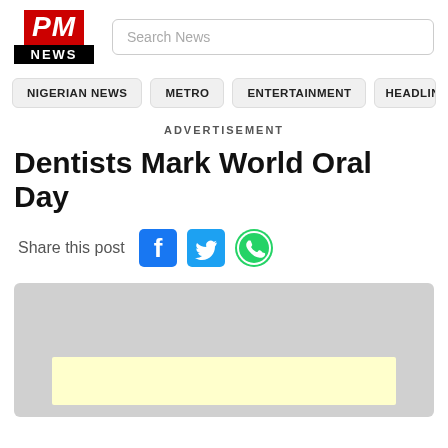[Figure (logo): PM News logo - red PM text on red background above black NEWS banner]
Search News
NIGERIAN NEWS
METRO
ENTERTAINMENT
HEADLIN
ADVERTISEMENT
Dentists Mark World Oral Day
Share this post
[Figure (screenshot): Advertisement image placeholder with light yellow inner box on grey background]